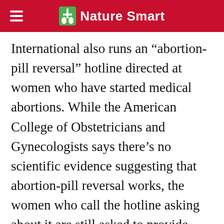Nature Smart
International also runs an “abortion-pill reversal” hotline directed at women who have started medical abortions. While the American College of Obstetricians and Gynecologists says there’s no scientific evidence suggesting that abortion-pill reversal works, the women who call the hotline asking about it are still asked to provide personal data. If abortion is illegal, that interaction carries potential legal implications, says Murtha. “You’re on record,” she says, “sharing the most private